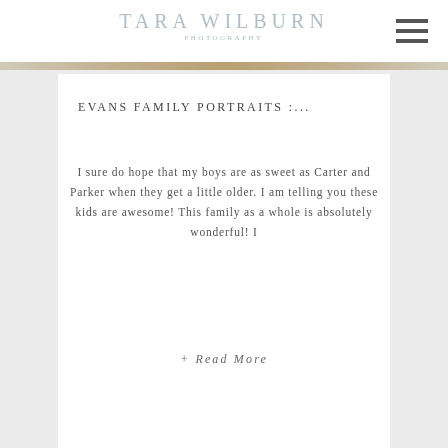TARA WILBURN PHOTOGRAPHY
EVANS FAMILY PORTRAITS :...
I sure do hope that my boys are as sweet as Carter and Parker when they get a little older. I am telling you these kids are awesome! This family as a whole is absolutely wonderful! I
+ Read More